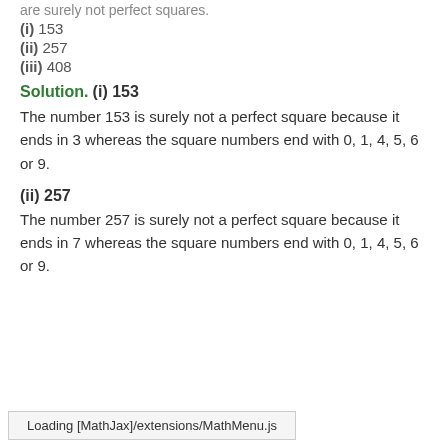are surely not perfect squares.
(i) 153
(ii) 257
(iii) 408
Solution.
(i) 153
The number 153 is surely not a perfect square because it ends in 3 whereas the square numbers end with 0, 1, 4, 5, 6 or 9.
(ii) 257
The number 257 is surely not a perfect square because it ends in 7 whereas the square numbers end with 0, 1, 4, 5, 6 or 9.
Loading [MathJax]/extensions/MathMenu.js